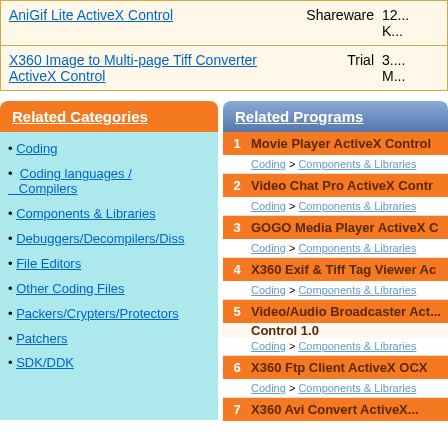| Name | Type | Size |
| --- | --- | --- |
| AniGif Lite ActiveX Control | Shareware | 12... K... |
| X360 Image to Multi-page Tiff Converter ActiveX Control | Trial | 3.... M... |
Related Categories
Coding
Coding languages / Compilers
Components & Libraries
Debuggers/Decompilers/Diss
File Editors
Other Coding Files
Packers/Crypters/Protectors
Patchers
SDK/DDK
Related Programs
1. Movie Player ActiveX Control - Coding > Components & Libraries
2. Video Chat Pro ActiveX Contr... - Coding > Components & Libraries
3. GOGO Media Player ActiveX C... - Coding > Components & Libraries
4. X360 Exif & Tiff Tag Viewer Ac... - Coding > Components & Libraries
5. Video/Audio Broadcaster Act... Control 1.0 - Coding > Components & Libraries
6. X360 Ftp Client ActiveX OCX... - Coding > Components & Libraries
7. X360 Avi Convert ActiveX...